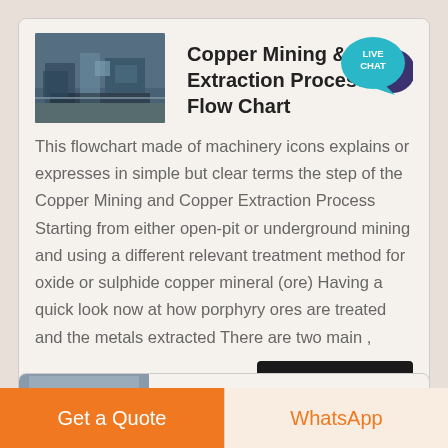[Figure (photo): Industrial mining facility photo showing machinery and equipment in blue-grey tones]
Copper Mining & Extraction Process Flow Chart
[Figure (illustration): Live Chat speech bubble icon in teal/dark blue]
This flowchart made of machinery icons explains or expresses in simple but clear terms the step of the Copper Mining and Copper Extraction Process Starting from either open-pit or underground mining and using a different relevant treatment method for oxide or sulphide copper mineral (ore) Having a quick look now at how porphyry ores are treated and the metals extracted There are two main ,
Get Price
[Figure (photo): Second card thumbnail image partially visible at bottom]
Get a Quote
WhatsApp